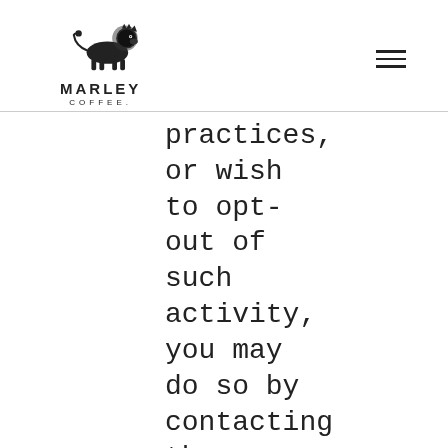MARLEY COFFEE.
practices, or wish to opt-out of such activity, you may do so by contacting the Mother